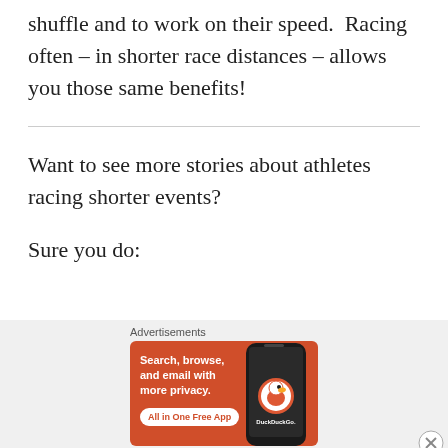shuffle and to work on their speed.  Racing often – in shorter race distances – allows you those same benefits!
Want to see more stories about athletes racing shorter events?
Sure you do:
[Figure (screenshot): DuckDuckGo advertisement banner with orange background. Text reads: 'Search, browse, and email with more privacy. All in One Free App'. Shows a phone with DuckDuckGo logo. Labeled 'Advertisements' above.]